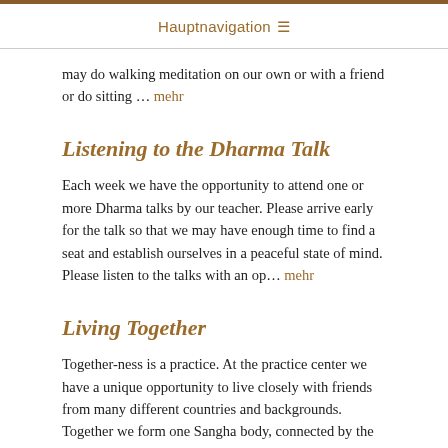Hauptnavigation ≡
may do walking meditation on our own or with a friend or do sitting … mehr
Listening to the Dharma Talk
Each week we have the opportunity to attend one or more Dharma talks by our teacher. Please arrive early for the talk so that we may have enough time to find a seat and establish ourselves in a peaceful state of mind. Please listen to the talks with an op… mehr
Living Together
Together-ness is a practice. At the practice center we have a unique opportunity to live closely with friends from many different countries and backgrounds. Together we form one Sangha body, connected by the practice of mindfulness. With